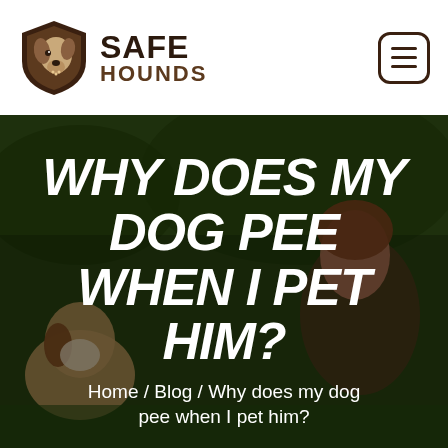[Figure (logo): Safe Hounds logo: shield with dog head illustration on the left, text SAFE HOUNDS on the right, and a hamburger menu button in the top right corner]
[Figure (photo): Hero image of dogs outdoors with a dark overlay. Large bold italic white text reads WHY DOES MY DOG PEE WHEN I PET HIM? Breadcrumb below reads Home / Blog / Why does my dog pee when I pet him?]
WHY DOES MY DOG PEE WHEN I PET HIM?
Home / Blog / Why does my dog pee when I pet him?